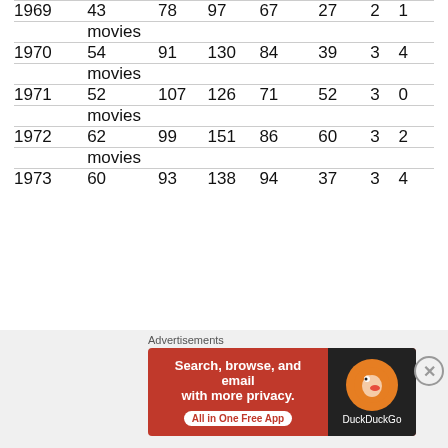| 1969 | 43 movies | 78 | 97 | 67 | 27 | 2 | 1 |
| 1970 | 54 movies | 91 | 130 | 84 | 39 | 3 | 4 |
| 1971 | 52 movies | 107 | 126 | 71 | 52 | 3 | 0 |
| 1972 | 62 movies | 99 | 151 | 86 | 60 | 3 | 2 |
| 1973 | 60 | 93 | 138 | 94 | 37 | 3 | 4 |
Advertisements
[Figure (screenshot): DuckDuckGo advertisement banner: 'Search, browse, and email with more privacy. All in One Free App' with DuckDuckGo logo on dark background]